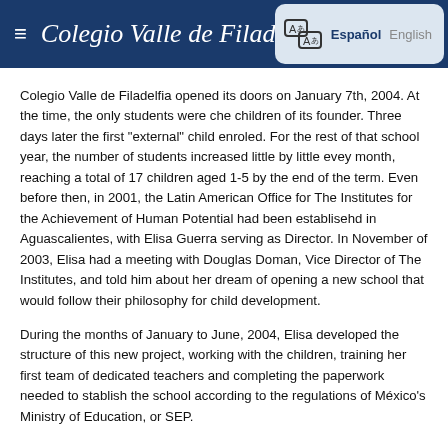Colegio Valle de Filadelfia
Colegio Valle de Filadelfia opened its doors on January 7th, 2004. At the time, the only students were che children of its founder. Three days later the first "external" child enroled. For the rest of that school year, the number of students increased little by little evey month, reaching a total of 17 children aged 1-5 by the end of the term. Even before then, in 2001, the Latin American Office for The Institutes for the Achievement of Human Potential had been establisehd in Aguascalientes, with Elisa Guerra serving as Director. In November of 2003, Elisa had a meeting with Douglas Doman, Vice Director of The Institutes, and told him about her dream of opening a new school that would follow their philosophy for child development.
During the months of January to June, 2004, Elisa developed the structure of this new project, working with the children, training her first team of dedicated teachers and completing the paperwork needed to stablish the school according to the regulations of México's Ministry of Education, or SEP.